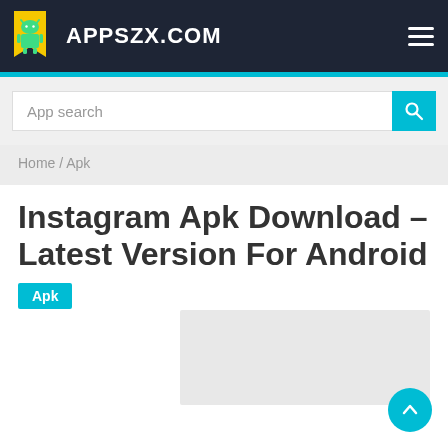APPSZX.COM
App search
Home / Apk
Instagram Apk Download – Latest Version For Android
Apk
[Figure (other): Gray placeholder advertisement box]